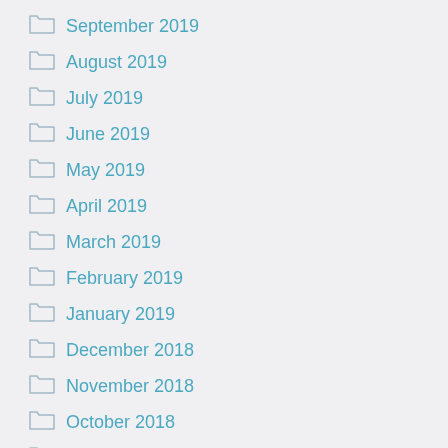September 2019
August 2019
July 2019
June 2019
May 2019
April 2019
March 2019
February 2019
January 2019
December 2018
November 2018
October 2018
September 2018
August 2018
December 2017
November 2017